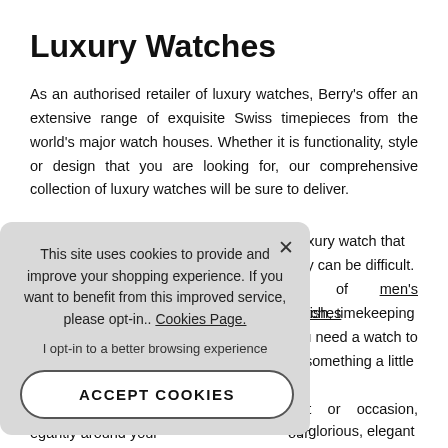Luxury Watches
As an authorised retailer of luxury watches, Berry's offer an extensive range of exquisite Swiss timepieces from the world's major watch houses. Whether it is functionality, style or design that you are looking for, our comprehensive collection of luxury watches will be sure to deliver.
This site uses cookies to provide and improve your shopping experience. If you want to benefit from this improved service, please opt-in.. Cookies Page.

I opt-in to a better browsing experience

ACCEPT COOKIES
...luxury watch that ...ality can be difficult. ...on of men's watches ...stylish, timekeeping ...you need a watch to ...or something a little ...ar. ...outfit or occasion, our ...the glorious, elegant ...egantly around your ...